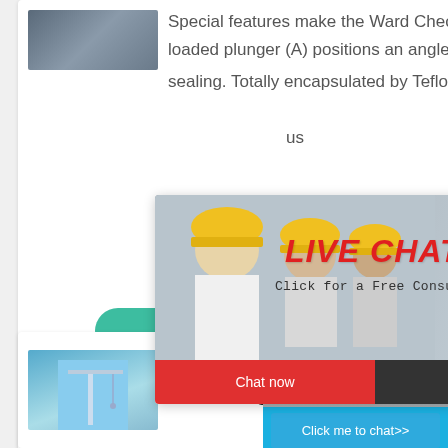[Figure (photo): Industrial building exterior photo thumbnail]
Special features make the Ward Check Valve unique. A patented spring-loaded plunger (A) positions an angled self-aligning disk (B) for positive sealing. Totally encapsulated by Teflon®, the disk…us
[Figure (photo): Live chat popup with workers in yellow hard hats. Shows 'LIVE CHAT' in red italic text, 'Click for a Free Consultation', Chat now (red button) and Chat later (dark button), close X button]
[Figure (photo): Right sidebar showing blue background with industrial machine/crusher, hour online text, Click me to chat>> button, Enquiry label, and email address]
More
Coating pa
[Figure (photo): Blue sky with crane construction equipment thumbnail]
eyvueitml@emailo